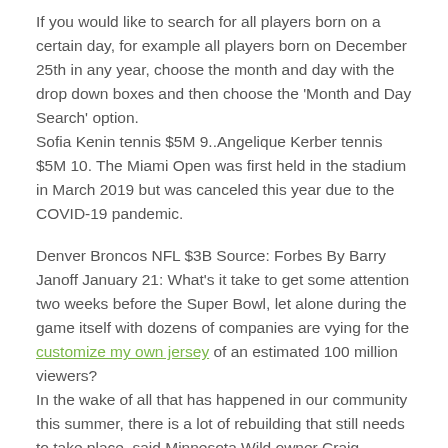If you would like to search for all players born on a certain day, for example all players born on December 25th in any year, choose the month and day with the drop down boxes and then choose the 'Month and Day Search' option. Sofia Kenin tennis $5M 9..Angelique Kerber tennis $5M 10. The Miami Open was first held in the stadium in March 2019 but was canceled this year due to the COVID-19 pandemic.
Denver Broncos NFL $3B Source: Forbes By Barry Janoff January 21: What's it take to get some attention two weeks before the Super Bowl, let alone during the game itself with dozens of companies are vying for the customize my own jersey of an estimated 100 million viewers? In the wake of all that has happened in our community this summer, there is a lot of rebuilding that still needs to take place, said Minnesota Wild owner Craig Leipold. Now, New York Road Runners and its marketing partners have hit the ground running for a series of activations leading to the